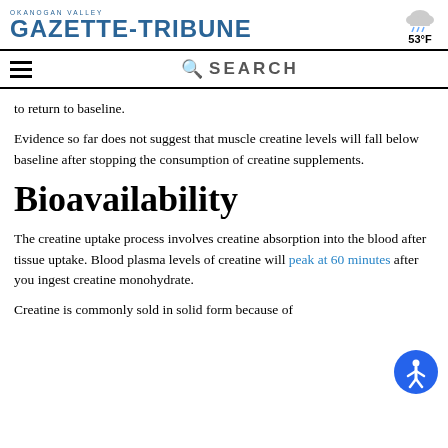OKANOGAN VALLEY GAZETTE-TRIBUNE  53°F
SEARCH
to return to baseline.
Evidence so far does not suggest that muscle creatine levels will fall below baseline after stopping the consumption of creatine supplements.
Bioavailability
The creatine uptake process involves creatine absorption into the blood after tissue uptake. Blood plasma levels of creatine will peak at 60 minutes after you ingest creatine monohydrate.
Creatine is commonly sold in solid form because of